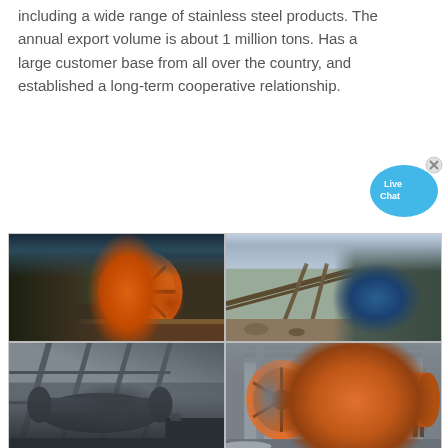including a wide range of stainless steel products. The annual export volume is about 1 million tons. Has a large customer base from all over the country, and established a long-term cooperative relationship.
[Figure (illustration): Live Chat bubble icon with blue speech bubble and close button]
[Figure (photo): 2x2 grid of industrial mining/milling equipment photos: top-left shows orange crusher machinery in an industrial building; top-right shows outdoor mining conveyor and crusher equipment; bottom-left shows large industrial conveyor/processing structure; bottom-right shows a large orange ball mill with workers.]